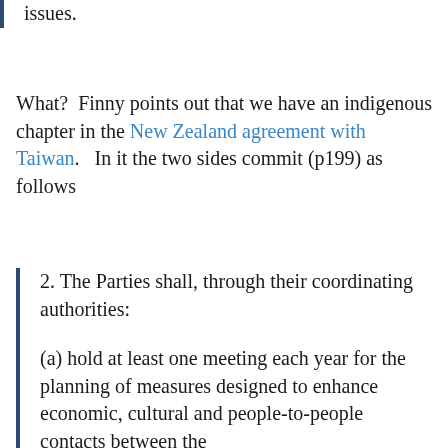issues.
What?  Finny points out that we have an indigenous chapter in the New Zealand agreement with Taiwan.   In it the two sides commit (p199) as follows
2. The Parties shall, through their coordinating authorities:
(a) hold at least one meeting each year for the planning of measures designed to enhance economic, cultural and people-to-people contacts between the indigenous peoples of the two...